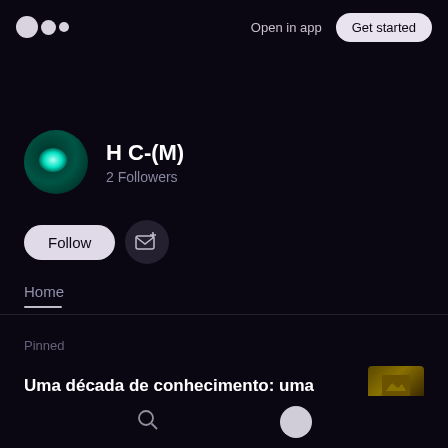[Figure (logo): Medium logo — three circles (large, medium, small) in light grey/white]
Open in app
Get started
[Figure (illustration): User avatar — dark circular profile image with teal/green glowing orb highlight]
H C-(M)
2 Followers
Follow
[Figure (illustration): Subscribe/email icon button — envelope with plus sign]
Home
Pinned
Uma década de conhecimento: uma
[Figure (photo): Partial article thumbnail image — dark warm tones]
[Figure (illustration): Search icon in bottom navigation bar]
[Figure (illustration): User profile avatar circle in bottom navigation bar]